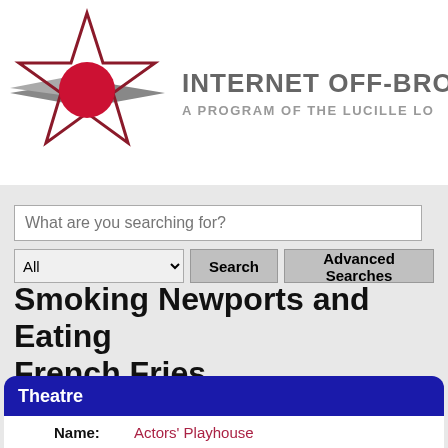[Figure (logo): Internet Off-Broadway star logo with red circle, dark red star outline, and gray wing shapes]
INTERNET OFF-BROADWA A PROGRAM OF THE LUCILLE LO
What are you searching for?
All  Search  Advanced Searches
Smoking Newports and Eating French Fries
Theatre
Name: Actors' Playhouse